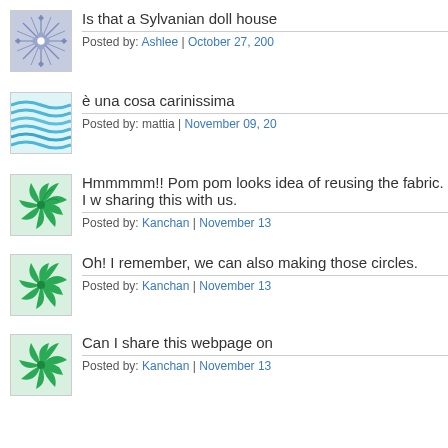[Figure (illustration): Blue geometric star/snowflake pattern avatar]
Is that a Sylvanian doll house
Posted by: Ashlee | October 27, 200
[Figure (illustration): Blue wavy lines pattern avatar]
è una cosa carinissima
Posted by: mattia | November 09, 20
[Figure (illustration): Green spiral/swirl pattern avatar]
Hmmmmm!! Pom pom looks idea of reusing the fabric. I w sharing this with us.
Posted by: Kanchan | November 13
[Figure (illustration): Green spiral/swirl pattern avatar]
Oh! I remember, we can also making those circles.
Posted by: Kanchan | November 13
[Figure (illustration): Green spiral/swirl pattern avatar]
Can I share this webpage on
Posted by: Kanchan | November 13